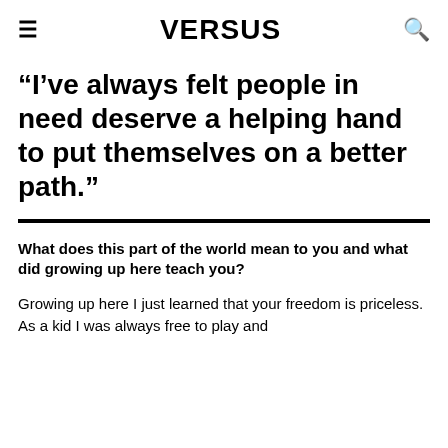≡  VERSUS  🔍
“I’ve always felt people in need deserve a helping hand to put themselves on a better path.”
What does this part of the world mean to you and what did growing up here teach you?
Growing up here I just learned that your freedom is priceless. As a kid I was always free to play and